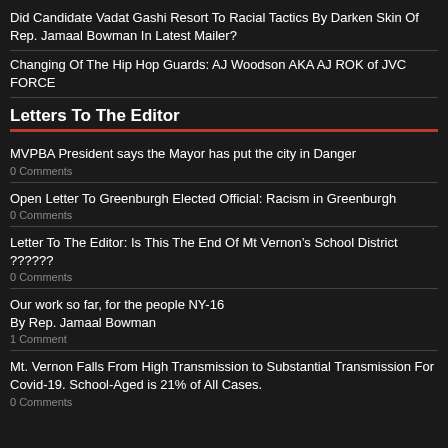Did Candidate Vadat Gashi Resort To Racial Tactics By Darken Skin Of Rep. Jamaal Bowman In Latest Mailer?
Changing Of The Hip Hop Guards: AJ Woodson AKA AJ ROK of JVC FORCE
Letters To The Editor
MVPBA President says the Mayor has put the city in Danger
0 Comments
Open Letter To Greenburgh Elected Official: Racism in Greenburgh
0 Comments
Letter To The Editor: Is This The End Of Mt Vernon’s School District ??????
0 Comments
Our work so far, for the people NY-16 By Rep. Jamaal Bowman
1 Comment
Mt. Vernon Falls From High Transmission to Substantial Transmission For Covid-19. School-Aged is 21% of All Cases.
0 Comments